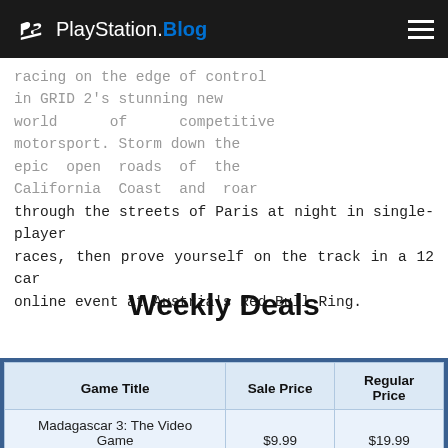PlayStation.Blog
racing on the edge of control in GRID 2's stunning new world of competitive motorsport. Storm down the epic open roads of the California Coast and roar through the streets of Paris at night in single-player races, then prove yourself on the track in a 12 car online event at Austria's Red Bull Ring.
Weekly Deals
| Game Title | Sale Price | Regular Price |
| --- | --- | --- |
| Madagascar 3: The Video Game | $9.99 | $19.99 |